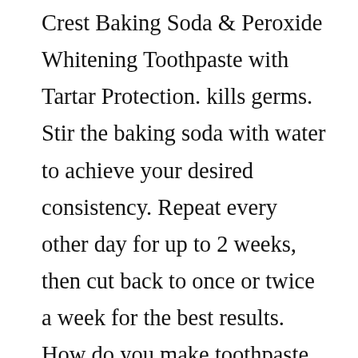Crest Baking Soda & Peroxide Whitening Toothpaste with Tartar Protection. kills germs. Stir the baking soda with water to achieve your desired consistency. Repeat every other day for up to 2 weeks, then cut back to once or twice a week for the best results. How do you make toothpaste with baking soda? A simple toothpaste consisting of hydrogen peroxide and baking soda can create a brighter smile. The recipe for homemade toothpaste using baking soda and hydrogen peroxide is simple. Which